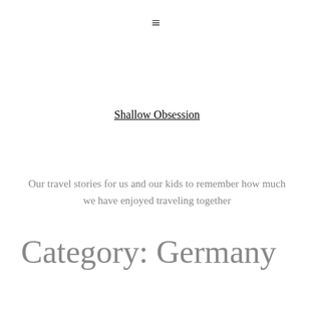≡
Shallow Obsession
Our travel stories for us and our kids to remember how much we have enjoyed traveling together
Category: Germany